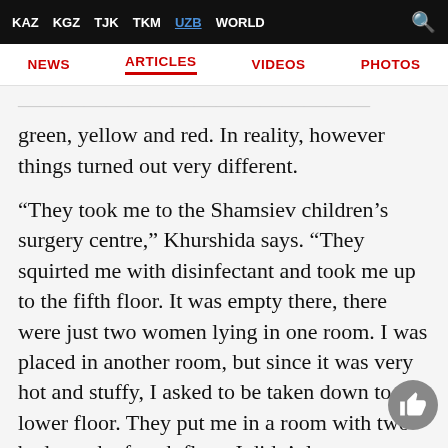KAZ  KGZ  TJK  TKM  UZB  WORLD
NEWS  ARTICLES  VIDEOS  PHOTOS
in order to prevent the spread of the infection green, yellow and red. In reality, however things turned out very different.
“They took me to the Shamsiev children’s surgery centre,” Khurshida says. “They squirted me with disinfectant and took me up to the fifth floor. It was empty there, there were just two women lying in one room. I was placed in another room, but since it was very hot and stuffy, I asked to be taken down to a lower floor. They put me in a room with two beds on the fourth floor. I didn’t let anyone else in. But the hospital corridors are narrow, and there were 7-8 people in every room. Everything seemed